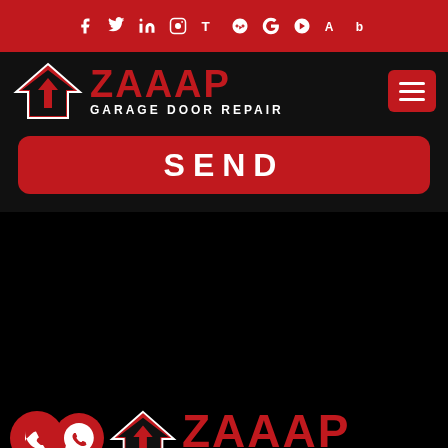[Figure (logo): Red top bar with white social media icons: Facebook, Twitter, LinkedIn, Instagram, TripAdvisor, Yelp, Google+, Apple, Angi, Bing]
[Figure (logo): ZAAAP Garage Door Repair logo with house/arrow icon in red and white on dark background, with hamburger menu button on right]
SEND
[Figure (logo): ZAAAP Garage Door Repair full logo repeated at bottom with phone icon (red circle) and WhatsApp icon (red circle)]